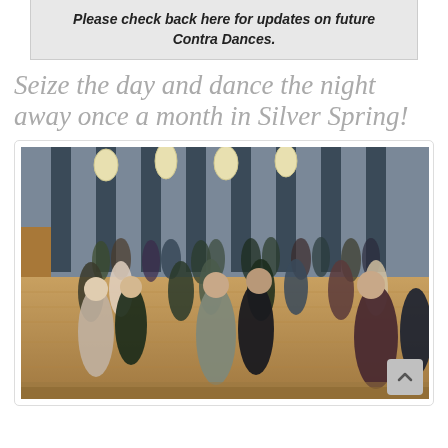Please check back here for updates on future Contra Dances.
Seize the day and dance the night away once a month in Silver Spring!
[Figure (photo): People dancing contra dance in a large hall with wood-paneled walls, overhead lights, and a wooden floor. Many couples are dancing and rotating in the traditional contra dance style.]